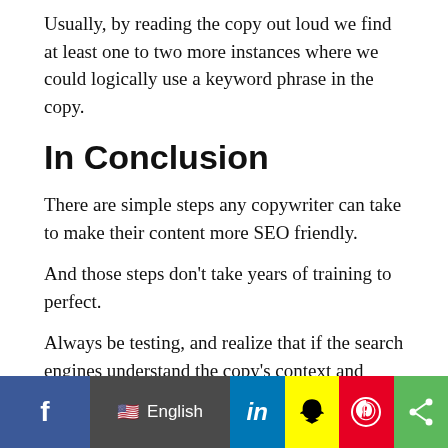Usually, by reading the copy out loud we find at least one to two more instances where we could logically use a keyword phrase in the copy.
In Conclusion
There are simple steps any copywriter can take to make their content more SEO friendly.
And those steps don’t take years of training to perfect.
Always be testing, and realize that if the search engines understand the copy’s context and users are persuaded to take some sort of desired action, you are golden.
More resources:
[Figure (infographic): Social sharing bar with Facebook, language selector (English with US flag), LinkedIn, Snapchat, Pinterest, and share icons]